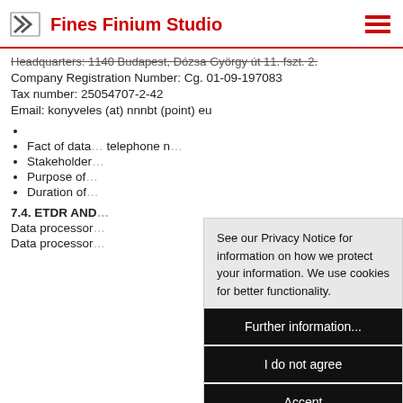Fines Finium Studio
Headquarters: 1140 Budapest, Dózsa György út 11. fszt. 2.
Company Registration Number: Cg. 01-09-197083
Tax number: 25054707-2-42
Email: konyveles (at) nnnbt (point) eu
Fact of data... telephone n...
Stakeholder...
Purpose of...
Duration of...
7.4. ETDR AND...
Data processor...
Data processor...
See our Privacy Notice for information on how we protect your information. We use cookies for better functionality.
Further information...
I do not agree
Accept